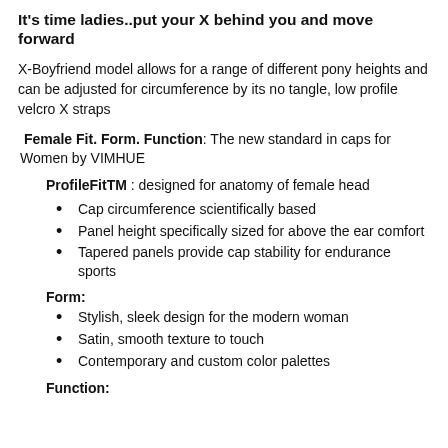It's time ladies..put your X behind you and move forward
X-Boyfriend model allows for a range of different pony heights and can be adjusted for circumference by its no tangle, low profile velcro X straps
Female Fit. Form. Function: The new standard in caps for Women by VIMHUE
ProfileFitTM : designed for anatomy of female head
Cap circumference scientifically based
Panel height specifically sized for above the ear comfort
Tapered panels provide cap stability for endurance sports
Form:
Stylish, sleek design for the modern woman
Satin, smooth texture to touch
Contemporary and custom color palettes
Function: